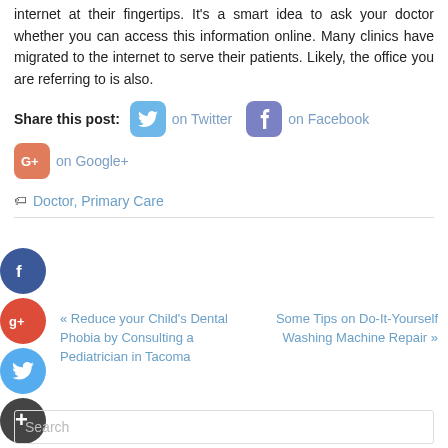internet at their fingertips. It's a smart idea to ask your doctor whether you can access this information online. Many clinics have migrated to the internet to serve their patients. Likely, the office you are referring to is also.
Share this post: on Twitter on Facebook on Google+
Doctor, Primary Care
« Reduce your Child's Dental Phobia by Consulting a Pediatrician in Tacoma
Some Tips on Do-It-Yourself Washing Machine Repair »
Search